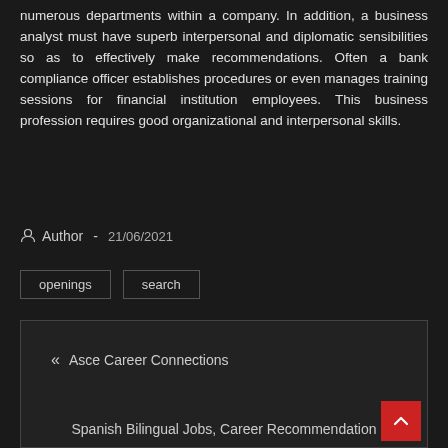numerous departments within a company. In addition, a business analyst must have superb interpersonal and diplomatic sensibilities so as to effectively make recommendations. Often a bank compliance officer establishes procedures or even manages training sessions for financial institution employees. This business profession requires good organizational and interpersonal skills.
Author - 21/06/2021
openings
search
« Asce Career Connections
Spanish Bilingual Jobs, Career Recommendation